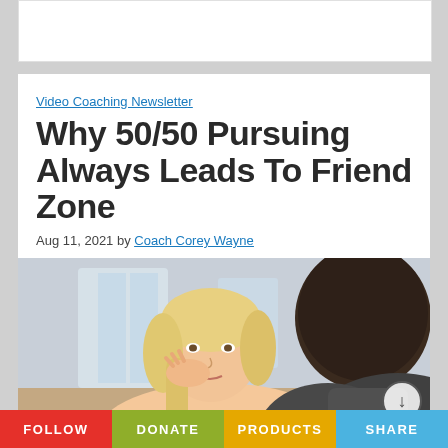[Figure (other): Advertisement banner placeholder (white rectangle)]
Video Coaching Newsletter
Why 50/50 Pursuing Always Leads To Friend Zone
Aug 11, 2021 by Coach Corey Wayne
[Figure (photo): A blonde woman resting her head on her hand looking at a dark-haired person seated across from her, blurred background]
FOLLOW   DONATE   PRODUCTS   SHARE